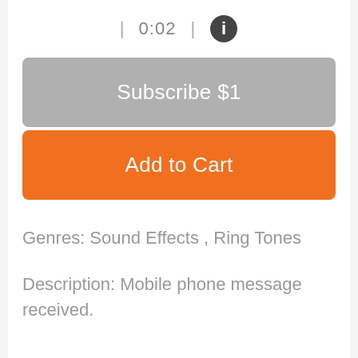| 0:02 | ℹ
Subscribe $1
Add to Cart
Genres: Sound Effects , Ring Tones
Description: Mobile phone message received.